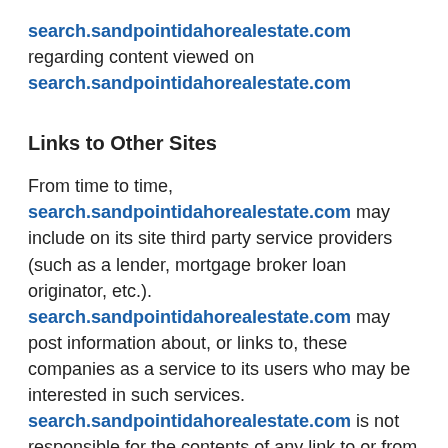search.sandpointidahorealestate.com regarding content viewed on search.sandpointidahorealestate.com
Links to Other Sites
From time to time, search.sandpointidahorealestate.com may include on its site third party service providers (such as a lender, mortgage broker loan originator, etc.). search.sandpointidahorealestate.com may post information about, or links to, these companies as a service to its users who may be interested in such services. search.sandpointidahorealestate.com is not responsible for the contents of any link to or from